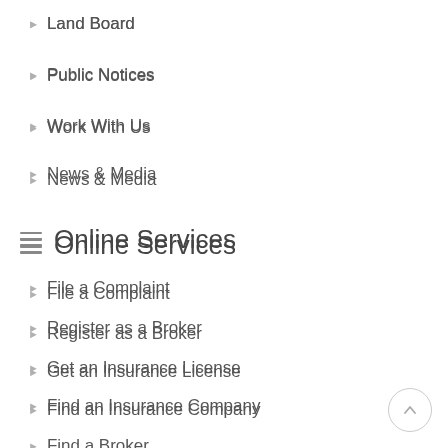Land Board
Public Notices
Work With Us
News & Media
Online Services
File a Complaint
Register as a Broker
Get an Insurance License
Find an Insurance Company
Find a Broker
Contact Us